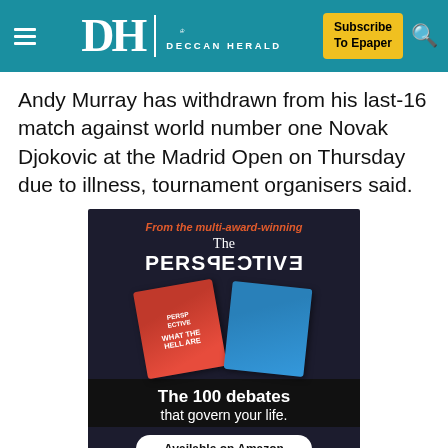Deccan Herald — Subscribe To Epaper
Andy Murray has withdrawn from his last-16 match against world number one Novak Djokovic at the Madrid Open on Thursday due to illness, tournament organisers said.
[Figure (illustration): Advertisement for 'The Perspective' book: 'From the multi-award-winning / The PERSPECTIVE / The 100 debates that govern your life. / Available on Amazon' by Daniel Ravner. Shows a red and blue book cover with text 'WHAT THE HELL ARE...']